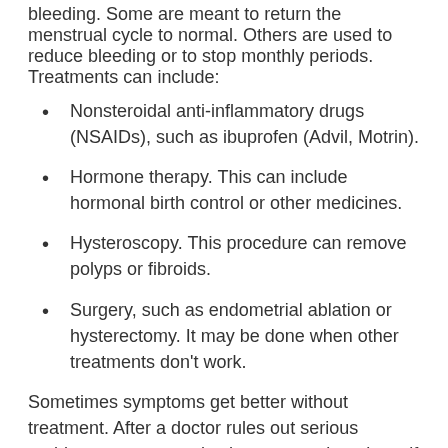bleeding. Some are meant to return the menstrual cycle to normal. Others are used to reduce bleeding or to stop monthly periods. Treatments can include:
Nonsteroidal anti-inflammatory drugs (NSAIDs), such as ibuprofen (Advil, Motrin).
Hormone therapy. This can include hormonal birth control or other medicines.
Hysteroscopy. This procedure can remove polyps or fibroids.
Surgery, such as endometrial ablation or hysterectomy. It may be done when other treatments don't work.
Sometimes symptoms get better without treatment. After a doctor rules out serious problems, some people choose to wait and see if symptoms get